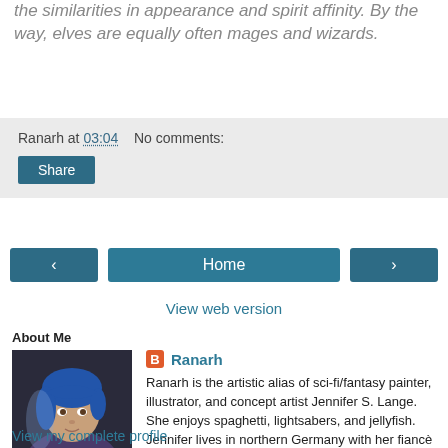the similarities in appearance and spirit affinity. By the way, elves are equally often mages and wizards.
Ranarh at 03:04    No comments:
Share
‹   Home   ›
View web version
About Me
[Figure (photo): Profile photo of Ranarh: digital painting of a person with blue hair.]
Ranarh
Ranarh is the artistic alias of sci-fi/fantasy painter, illustrator, and concept artist Jennifer S. Lange. She enjoys spaghetti, lightsabers, and jellyfish. Jennifer lives in northern Germany with her fiancè and a blackbird.
View my complete profile